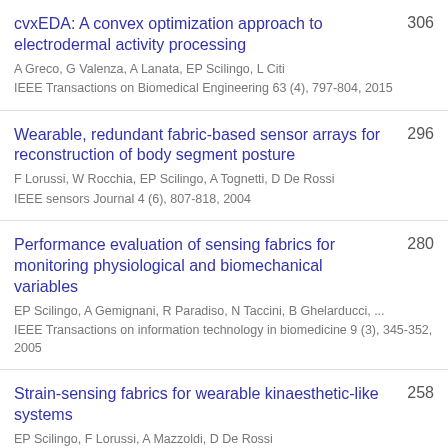cvxEDA: A convex optimization approach to electrodermal activity processing | A Greco, G Valenza, A Lanata, EP Scilingo, L Citi | IEEE Transactions on Biomedical Engineering 63 (4), 797-804, 2015 | 306
Wearable, redundant fabric-based sensor arrays for reconstruction of body segment posture | F Lorussi, W Rocchia, EP Scilingo, A Tognetti, D De Rossi | IEEE sensors Journal 4 (6), 807-818, 2004 | 296
Performance evaluation of sensing fabrics for monitoring physiological and biomechanical variables | EP Scilingo, A Gemignani, R Paradiso, N Taccini, B Ghelarducci, ... | IEEE Transactions on information technology in biomedicine 9 (3), 345-352, 2005 | 280
Strain-sensing fabrics for wearable kinaesthetic-like systems | EP Scilingo, F Lorussi, A Mazzoldi, D De Rossi | IEEE sensors journal 3 (4), 460-467, 2003 | 258